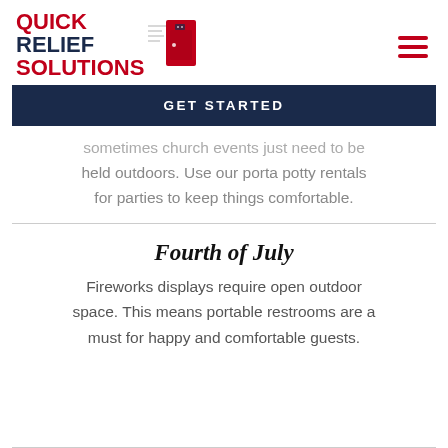[Figure (logo): Quick Relief Solutions logo with red and navy text and a red porta-potty icon]
GET STARTED
sometimes church events just need to be held outdoors. Use our porta potty rentals for parties to keep things comfortable.
Fourth of July
Fireworks displays require open outdoor space. This means portable restrooms are a must for happy and comfortable guests.